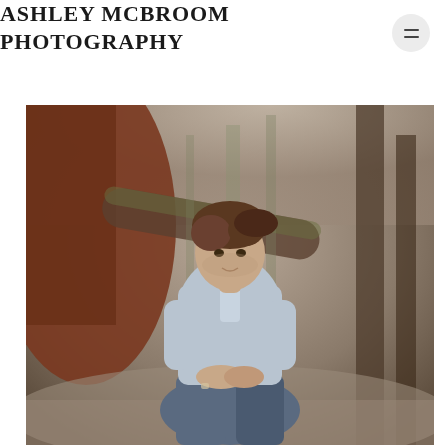ASHLEY MCBROOM PHOTOGRAPHY
[Figure (photo): Young man with brown hair sitting outdoors in a wooded area, wearing a light blue short-sleeve button-up shirt and jeans, leaning forward with hands clasped. Background shows bare trees and bokeh forest scene. Senior portrait style photograph.]